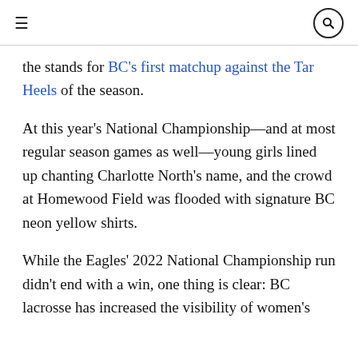≡   [search icon]
the stands for BC's first matchup against the Tar Heels of the season.
At this year's National Championship—and at most regular season games as well—young girls lined up chanting Charlotte North's name, and the crowd at Homewood Field was flooded with signature BC neon yellow shirts.
While the Eagles' 2022 National Championship run didn't end with a win, one thing is clear: BC lacrosse has increased the visibility of women's